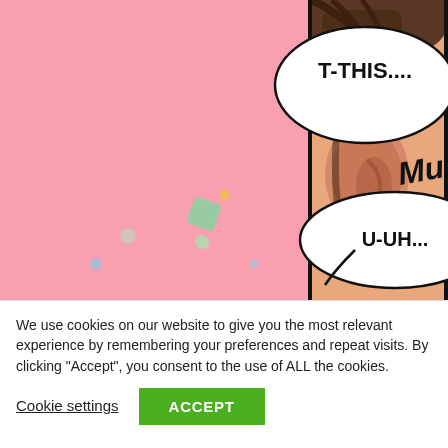[Figure (illustration): Manga/webtoon panel showing a close-up of a person's ear on the right side (skin-tone with dark hair) against a pink background on the left. Two speech bubbles contain the text 'T-THIS...', 'Mumble', and 'U-UH...' indicating a mumbling character.]
We use cookies on our website to give you the most relevant experience by remembering your preferences and repeat visits. By clicking "Accept", you consent to the use of ALL the cookies.
Cookie settings
ACCEPT